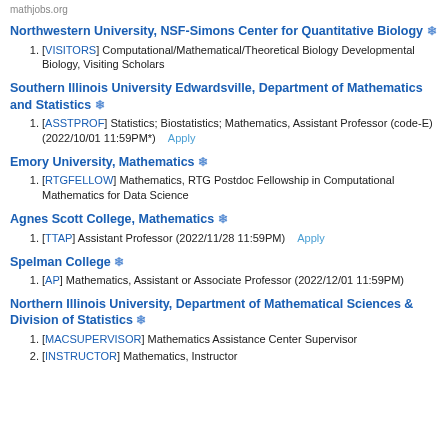Northwestern University, NSF-Simons Center for Quantitative Biology ❄
[VISITORS] Computational/Mathematical/Theoretical Biology Developmental Biology, Visiting Scholars
Southern Illinois University Edwardsville, Department of Mathematics and Statistics ❄
[ASSTPROF] Statistics; Biostatistics; Mathematics, Assistant Professor (code-E) (2022/10/01 11:59PM*)  Apply
Emory University, Mathematics ❄
[RTGFELLOW] Mathematics, RTG Postdoc Fellowship in Computational Mathematics for Data Science
Agnes Scott College, Mathematics ❄
[TTAP] Assistant Professor (2022/11/28 11:59PM)  Apply
Spelman College ❄
[AP] Mathematics, Assistant or Associate Professor (2022/12/01 11:59PM)
Northern Illinois University, Department of Mathematical Sciences & Division of Statistics ❄
[MACSUPERVISOR] Mathematics Assistance Center Supervisor
[INSTRUCTOR] Mathematics, Instructor